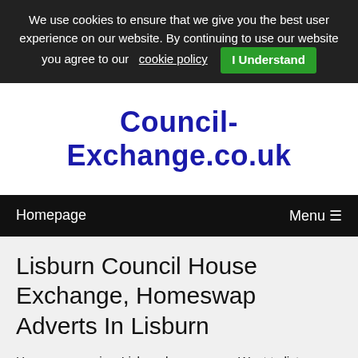We use cookies to ensure that we give you the best user experience on our website. By continuing to use our website you agree to our cookie policy I Understand
Council-Exchange.co.uk
Homepage   Menu ☰
Lisburn Council House Exchange, Homeswap Adverts In Lisburn
Here you can view Lisburn homeswaps, Want to list your Lisburn House Exchange?
Our website is for council and housing association